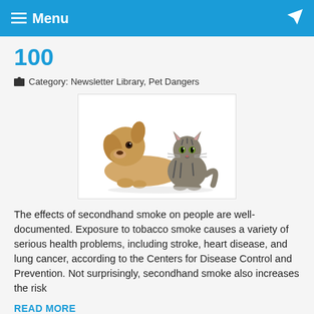≡ Menu
100
Category: Newsletter Library, Pet Dangers
[Figure (photo): A light-colored dog lying down next to a striped tabby cat on a white background.]
The effects of secondhand smoke on people are well-documented. Exposure to tobacco smoke causes a variety of serious health problems, including stroke, heart disease, and lung cancer, according to the Centers for Disease Control and Prevention. Not surprisingly, secondhand smoke also increases the risk
READ MORE